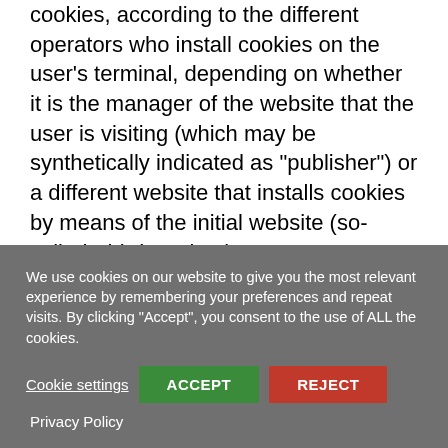cookies, according to the different operators who install cookies on the user's terminal, depending on whether it is the manager of the website that the user is visiting (which may be synthetically indicated as "publisher") or a different website that installs cookies by means of the initial website (so-called "third-parties").
In this respect, the publisher is, on the one hand, the data controller of the cookies installed directly, and on the other one, a technical intermediary between third parties and users. The publisher
We use cookies on our website to give you the most relevant experience by remembering your preferences and repeat visits. By clicking "Accept", you consent to the use of ALL the cookies.
Cookie settings | ACCEPT | REJECT | Privacy Policy